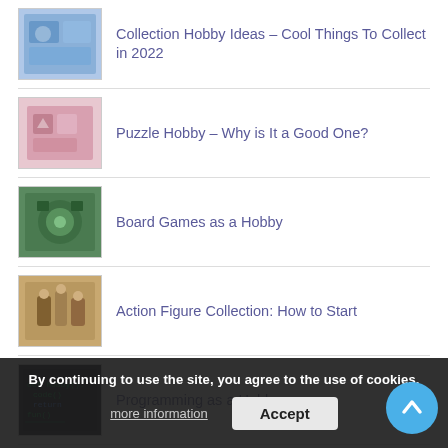Collection Hobby Ideas – Cool Things To Collect in 2022
Puzzle Hobby – Why is It a Good One?
Board Games as a Hobby
Action Figure Collection: How to Start
Programming as a Hobby
Benefits of Running as a Hobby
K-pop…
By continuing to use the site, you agree to the use of cookies.
more information
Accept